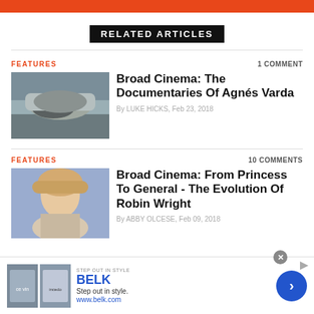[Figure (other): Orange header bar]
RELATED ARTICLES
FEATURES · 1 COMMENT
[Figure (photo): Photo of a large bird skull or whale bone sculpture on a rocky beach]
Broad Cinema: The Documentaries Of Agnés Varda
By LUKE HICKS, Feb 23, 2018
FEATURES · 10 COMMENTS
[Figure (photo): Portrait photo of a blonde woman]
Broad Cinema: From Princess To General - The Evolution Of Robin Wright
By ABBY OLCESE, Feb 09, 2018
[Figure (other): Advertisement banner for Belk - Step out in style. www.belk.com]